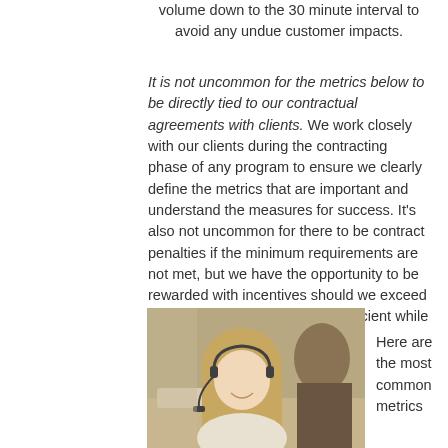volume down to the 30 minute interval to avoid any undue customer impacts.
It is not uncommon for the metrics below to be directly tied to our contractual agreements with clients. We work closely with our clients during the contracting phase of any program to ensure we clearly define the metrics that are important and understand the measures for success. It's also not uncommon for there to be contract penalties if the minimum requirements are not met, but we have the opportunity to be rewarded with incentives should we exceed expectations and remain very efficient while doing so.
[Figure (photo): A woman with a headset smiling at a call center desk, with other office workers visible in the background]
Here are the most common metrics